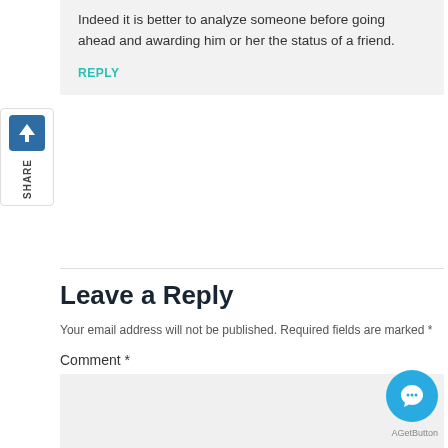Indeed it is better to analyze someone before going ahead and awarding him or her the status of a friend.
REPLY
[Figure (other): Share widget on left side with blue icon and vertical SHARE text]
Leave a Reply
Your email address will not be published. Required fields are marked *
Comment *
[Figure (other): Blue circular chat/comment button (GetButton) in bottom right corner with GetButton label]